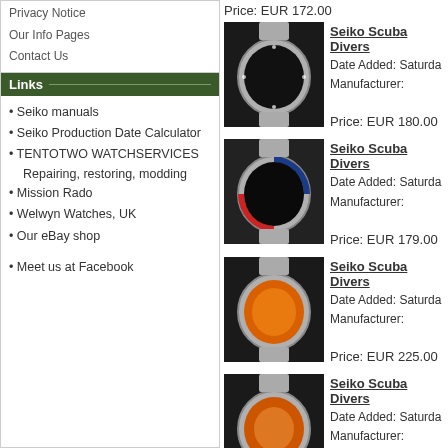Privacy Notice
Our Info Pages
Contact Us
Links
• Seiko manuals
• Seiko Production Date Calculator
• TENTOTWO WATCHSERVICES
Repairing, restoring, modding
• Mission Rado
• Welwyn Watches, UK
• Our eBay shop
• Meet us at Facebook
Price: EUR 172.00
[Figure (photo): Seiko diver watch with black dial and silver bracelet]
Seiko Scuba Divers
Date Added: Saturda
Manufacturer:
Price: EUR 180.00
[Figure (photo): Seiko diver watch with black dial, blue/red bezel and silver bracelet]
Seiko Scuba Divers
Date Added: Saturda
Manufacturer:
Price: EUR 179.00
[Figure (photo): Seiko diver watch with orange dial and silver bracelet]
Seiko Scuba Divers
Date Added: Saturda
Manufacturer:
Price: EUR 225.00
[Figure (photo): Seiko diver watch with orange dial and silver bracelet]
Seiko Scuba Divers
Date Added: Saturda
Manufacturer:
Price: EUR 215.00
[Figure (photo): Seiko sports watch with white/silver dial]
Seiko sports 6309-8
Date Added: Saturda
Manufacturer: